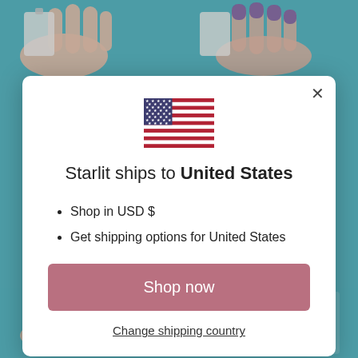[Figure (screenshot): Background showing nail product photos in a teal/blue grid — top row shows hands with nail strips, bottom row shows nail wrap packaging on teal background]
[Figure (illustration): US flag SVG illustration centered above modal title]
Starlit ships to United States
Shop in USD $
Get shipping options for United States
Shop now
Change shipping country